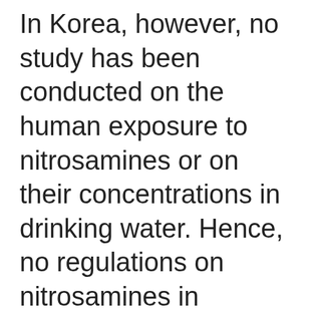In Korea, however, no study has been conducted on the human exposure to nitrosamines or on their concentrations in drinking water. Hence, no regulations on nitrosamines in drinking water were made in Korea. Chlorinated tap water is frequently boiled to prepare teas, soups, or stews, and the volume of water is